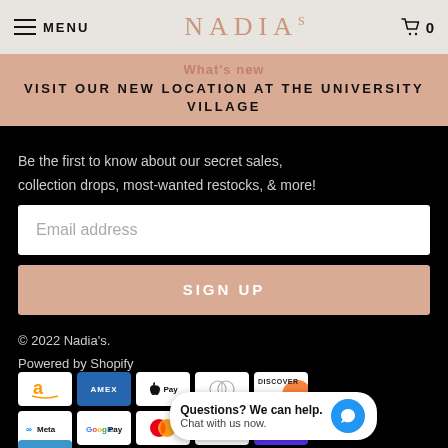MENU | NADIA'S | Cart 0
VISIT OUR NEW LOCATION AT THE UNIVERSITY VILLAGE
Be the first to know about our secret sales, collection drops, most-wanted restocks, & more!
Email address
SIGN UP
© 2022 Nadia's. Powered by Shopify
[Figure (other): Payment method icons: Amazon, Amex, Apple Pay, Diners Club, Discover, Meta Pay, Google Pay, Mastercard, PayPal, Shop Pay, Venmo]
Questions? We can help. Chat with us now.